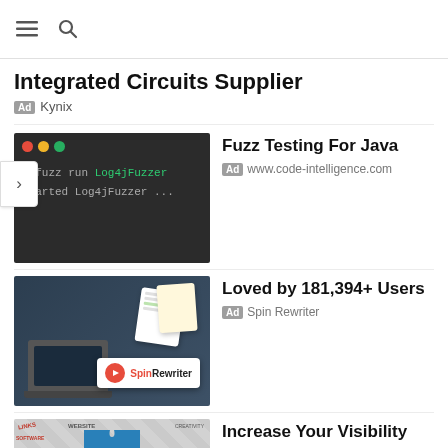Menu and Search bar
Integrated Circuits Supplier
Ad Kynix
[Figure (screenshot): Terminal window showing dark background with macOS-style window controls (red, yellow, green dots) and code: 'cifuzz run Log4jFuzzer / Started Log4jFuzzer ...']
Fuzz Testing For Java
Ad www.code-intelligence.com
[Figure (screenshot): Spin Rewriter promotional image showing a laptop with document cards and SpinRewriter logo card on dark blue gradient background]
Loved by 181,394+ Users
Ad Spin Rewriter
[Figure (illustration): WEB 2.0 puzzle piece graphic with blue central piece labeled WEB 2.0 surrounded by white puzzle pieces with web-related terms]
Increase Your Visibility
Ad SEDeStore
Airbag Systems